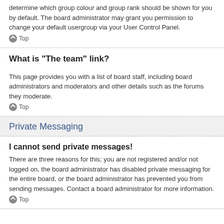determine which group colour and group rank should be shown for you by default. The board administrator may grant you permission to change your default usergroup via your User Control Panel.
Top
What is "The team" link?
This page provides you with a list of board staff, including board administrators and moderators and other details such as the forums they moderate.
Top
Private Messaging
I cannot send private messages!
There are three reasons for this; you are not registered and/or not logged on, the board administrator has disabled private messaging for the entire board, or the board administrator has prevented you from sending messages. Contact a board administrator for more information.
Top